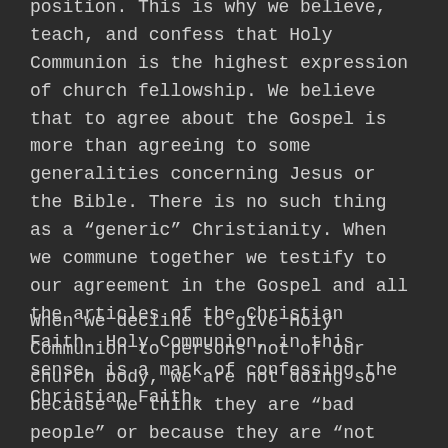position. This is why we believe, teach, and confess that Holy Communion is the highest expression of church fellowship. We believe that to agree about the Gospel is more than agreeing to some generalities concerning Jesus or the Bible. There is no such thing as a “generic” Christianity. When we commune together we testify to our agreement in the Gospel and all the articles of the Christian Faith. Holy Communion, in this sense, is a mark of confessing the Christian Faith.
When we decline to give Holy Communion to persons not of our church body, we are not doing so because we think they are “bad people” or because they are “not Christians.” We practice a “closeness” at our communion rail because we sincerely believe that this is what the Word of God teaches and what God would have us do with his Son’s precious body and